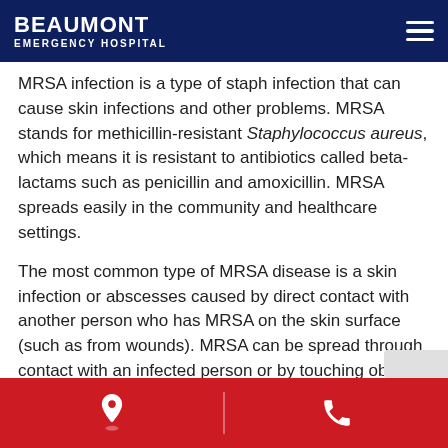BEAUMONT EMERGENCY HOSPITAL
MRSA infection is a type of staph infection that can cause skin infections and other problems. MRSA stands for methicillin-resistant Staphylococcus aureus, which means it is resistant to antibiotics called beta-lactams such as penicillin and amoxicillin. MRSA spreads easily in the community and healthcare settings.
The most common type of MRSA disease is a skin infection or abscesses caused by direct contact with another person who has MRSA on the skin surface (such as from wounds). MRSA can be spread through contact with an infected person or by touching objects like toys, doorknobs, countertops and more. MRSA is an infection that must be treated quickly because it may
[Location icon] [Phone icon]